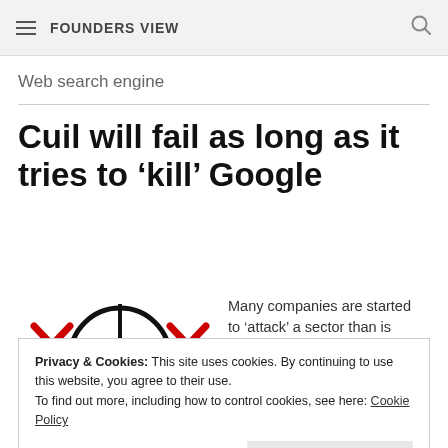FOUNDERS VIEW
Web search engine
Cuil will fail as long as it tries to 'kill' Google
[Figure (illustration): Crosshair/target icon with red X marks on left and right sides, in black outline on white background]
Many companies are started to 'attack' a sector than is
Privacy & Cookies: This site uses cookies. By continuing to use this website, you agree to their use. To find out more, including how to control cookies, see here: Cookie Policy
Close and accept
these sectors.